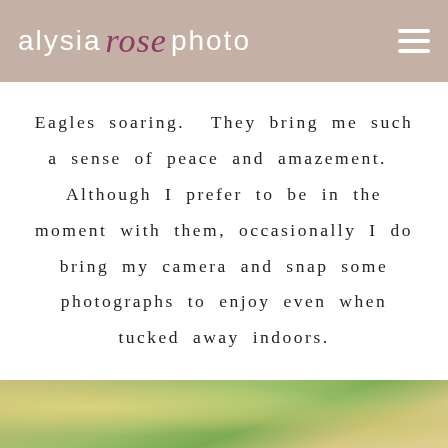alysia rose photo
Eagles soaring. They bring me such a sense of peace and amazement. Although I prefer to be in the moment with them, occasionally I do bring my camera and snap some photographs to enjoy even when tucked away indoors.
[Figure (photo): Outdoor nature photograph showing trees with sunlight filtering through green foliage, partially visible at the bottom of the page.]